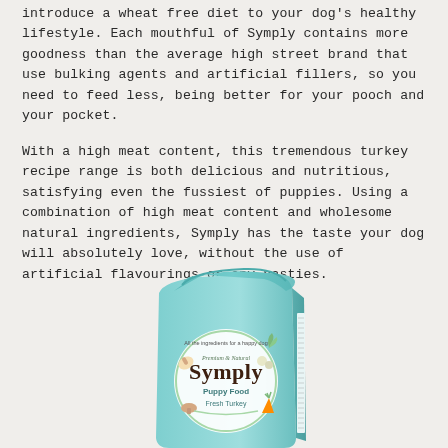introduce a wheat free diet to your dog's healthy lifestyle. Each mouthful of Symply contains more goodness than the average high street brand that use bulking agents and artificial fillers, so you need to feed less, being better for your pooch and your pocket.
With a high meat content, this tremendous turkey recipe range is both delicious and nutritious, satisfying even the fussiest of puppies. Using a combination of high meat content and wholesome natural ingredients, Symply has the taste your dog will absolutely love, without the use of artificial flavourings or any nasties.
[Figure (photo): A light blue bag of Symply Puppy Food Fresh Turkey dog food product.]